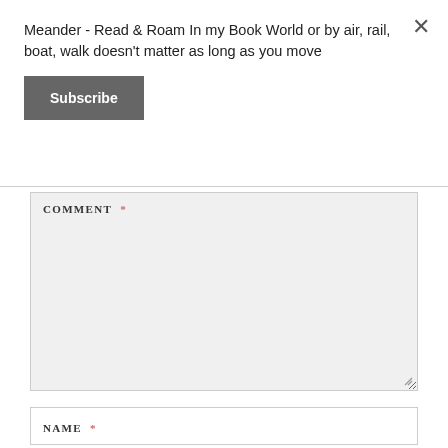Meander - Read & Roam In my Book World or by air, rail, boat, walk doesn't matter as long as you move
×
Subscribe
COMMENT *
NAME *